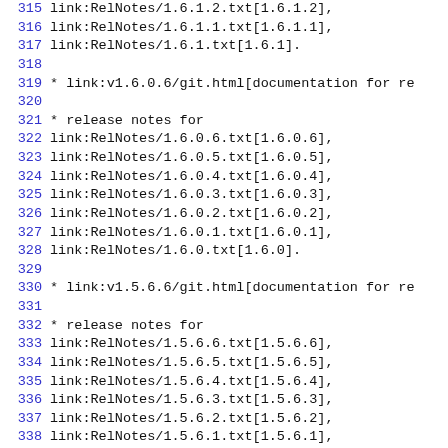Code listing lines 315-344 showing Git release notes links
315   link:RelNotes/1.6.1.2.txt[1.6.1.2],
316   link:RelNotes/1.6.1.1.txt[1.6.1.1],
317   link:RelNotes/1.6.1.txt[1.6.1].
318
319 * link:v1.6.0.6/git.html[documentation for re
320
321 * release notes for
322   link:RelNotes/1.6.0.6.txt[1.6.0.6],
323   link:RelNotes/1.6.0.5.txt[1.6.0.5],
324   link:RelNotes/1.6.0.4.txt[1.6.0.4],
325   link:RelNotes/1.6.0.3.txt[1.6.0.3],
326   link:RelNotes/1.6.0.2.txt[1.6.0.2],
327   link:RelNotes/1.6.0.1.txt[1.6.0.1],
328   link:RelNotes/1.6.0.txt[1.6.0].
329
330 * link:v1.5.6.6/git.html[documentation for re
331
332 * release notes for
333   link:RelNotes/1.5.6.6.txt[1.5.6.6],
334   link:RelNotes/1.5.6.5.txt[1.5.6.5],
335   link:RelNotes/1.5.6.4.txt[1.5.6.4],
336   link:RelNotes/1.5.6.3.txt[1.5.6.3],
337   link:RelNotes/1.5.6.2.txt[1.5.6.2],
338   link:RelNotes/1.5.6.1.txt[1.5.6.1],
339   link:RelNotes/1.5.6.txt[1.5.6].
340
341 * link:v1.5.5.6/git.html[documentation for re
342
343 * release notes for
344   link:RelNotes/1.5.5.6.txt[1.5.5.6],